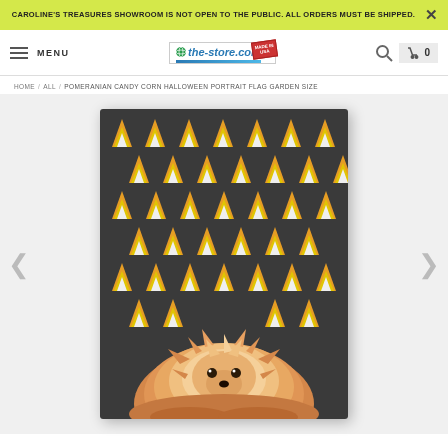CAROLINE'S TREASURES SHOWROOM IS NOT OPEN TO THE PUBLIC. ALL ORDERS MUST BE SHIPPED.
[Figure (screenshot): Navigation bar with hamburger menu, MENU label, the-store.com logo with Made in USA stamp, search icon, and cart icon showing 0]
HOME / ALL / POMERANIAN CANDY CORN HALLOWEEN PORTRAIT FLAG GARDEN SIZE
[Figure (photo): Garden flag with dark gray background covered in candy corn pattern (orange, yellow, white triangular candy corns) and a Pomeranian dog portrait at the bottom center]